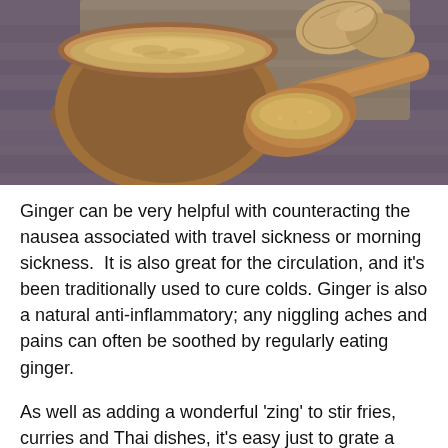[Figure (photo): Photo of ginger powder in a wooden bowl and a wooden scoop with ginger powder, surrounded by ginger root pieces on a dark wooden surface.]
Ginger can be very helpful with counteracting the nausea associated with travel sickness or morning sickness.  It is also great for the circulation, and it's been traditionally used to cure colds. Ginger is also a natural anti-inflammatory; any niggling aches and pains can often be soothed by regularly eating ginger.
As well as adding a wonderful 'zing' to stir fries, curries and Thai dishes, it's easy just to grate a teaspoon of ginger with some lemon juice, a teaspoon of Manuka